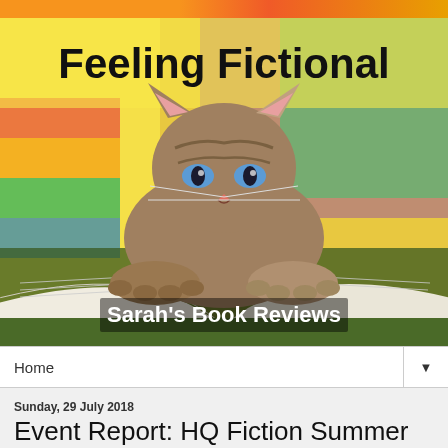[Figure (photo): Blog header image showing a kitten reading an open book, with colorful background. Text overlays read 'Feeling Fictional' at the top and 'Sarah's Book Reviews' at the bottom.]
Home
Sunday, 29 July 2018
Event Report: HQ Fiction Summer Showcase